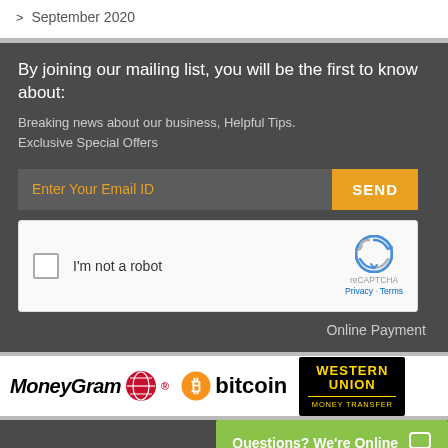> September 2020
By joining our mailing list, you will be the first to know about:
Breaking news about our business, Helpful Tips. Exclusive Special Offers
Enter Your Email ID
SEND
[Figure (other): reCAPTCHA widget with checkbox labeled 'I'm not a robot' and reCAPTCHA logo with Privacy · Terms links]
Online Payment
[Figure (logo): Payment method logos: MoneyGram, Bitcoin, Western Union Money Transfer]
Questions? We're Online